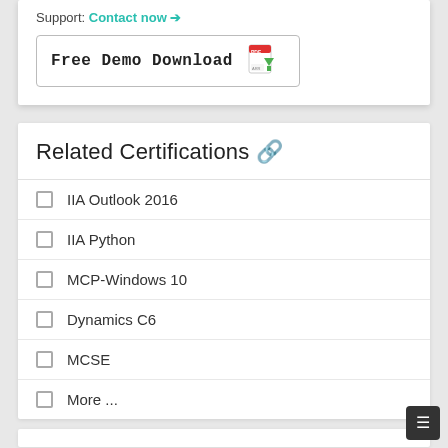Support: Contact now →
[Figure (other): Free Demo Download button with PDF download icon]
Related Certifications 🔗
IIA Outlook 2016
IIA Python
MCP-Windows 10
Dynamics C6
MCSE
More ...